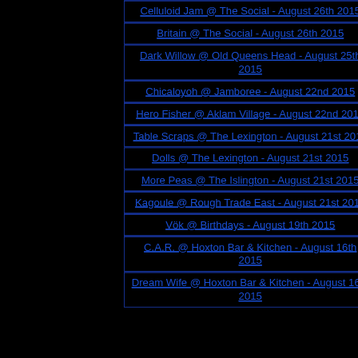Celluloid Jam @ The Social - August 26th 2015
Britain @ The Social - August 26th 2015
Dark Willow @ Old Queens Head - August 25th 2015
Chicaloyoh @ Jamboree - August 22nd 2015
Hero Fisher @ Aklam Village - August 22nd 2015
Table Scraps @ The Lexington - August 21st 2015
Dolls @ The Lexington - August 21st 2015
More Peas @ The Islington - August 21st 2015
Kagoule @ Rough Trade East - August 21st 2015
Vök @ Birthdays - August 19th 2015
C.A.R. @ Hoxton Bar & Kitchen - August 16th 2015
Dream Wife @ Hoxton Bar & Kitchen - August 16th 2015